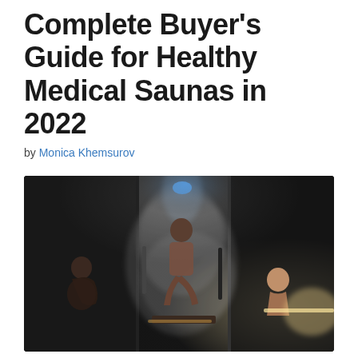Complete Buyer's Guide for Healthy Medical Saunas in 2022
by Monica Khemsurov
[Figure (photo): Three women in a dark, misty sauna environment. The central figure sits on a bench inside a glass steam room with light shining from above, surrounded by steam. A woman on the left crouches in the dark, and a woman on the right looks forward with bright backlight.]